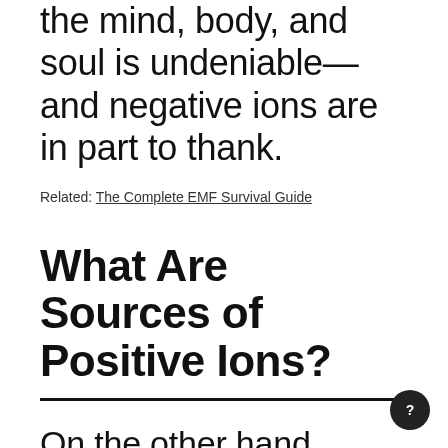the mind, body, and soul is undeniable—and negative ions are in part to thank.
Related: The Complete EMF Survival Guide
What Are Sources of Positive Ions?
On the other hand, positive ions are generated in abundance by us; well, by